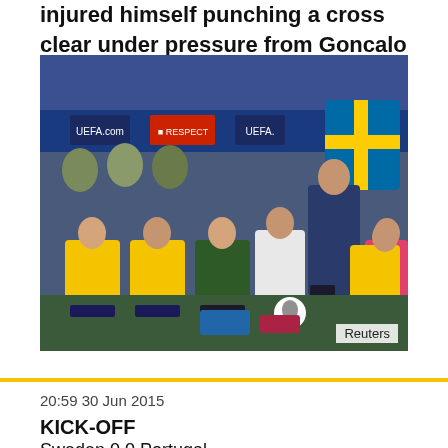injured himself punching a cross clear under pressure from Goncalo Paciencia.
[Figure (photo): Soccer manager standing on touchline in front of substitutes bench, with players in yellow and blue Sweden kits seated behind him. UEFA branding and Swedish flag visible in background. Photo credit: Reuters.]
Reuters
20:59 30 Jun 2015
KICK-OFF
Sweden 0 0 Portugal